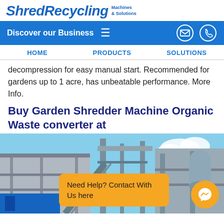ShredRecycling Machines & Solutions
Discover our Business
HOME   PRODUCTS   SOLUTIONS
decompression for easy manual start. Recommended for gardens up to 1 acre, has unbeatable performance. More Info.
Buy Garden Shredder Machine Organic Waste converter at
[Figure (photo): Industrial shredding/recycling machinery facility with metal structures, conveyors, and blue equipment against a partly cloudy sky. An orange 'Need Help? Contact With Us here' chat bubble overlay is visible at lower right, along with a Messenger icon.]